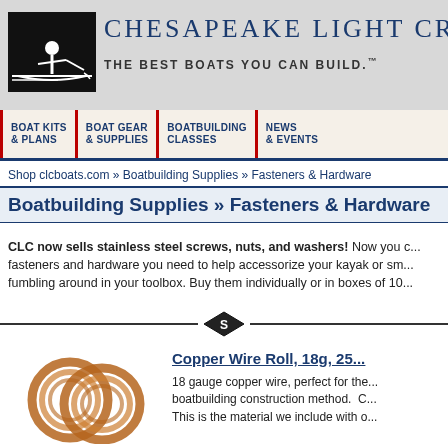CHESAPEAKE LIGHT CR - THE BEST BOATS YOU CAN BUILD.
BOAT KITS & PLANS | BOAT GEAR & SUPPLIES | BOATBUILDING CLASSES | NEWS & EVENTS
Shop clcboats.com » Boatbuilding Supplies » Fasteners & Hardware
Boatbuilding Supplies » Fasteners & Hardware
CLC now sells stainless steel screws, nuts, and washers! Now you can find all the fasteners and hardware you need to help accessorize your kayak or sm... fumbling around in your toolbox. Buy them individually or in boxes of 10...
[Figure (illustration): Diamond-shaped divider logo with stylized C or S letter inside]
[Figure (photo): Two coils of copper wire overlapping, showing copper roll product]
Copper Wire Roll, 18g, 25...
18 gauge copper wire, perfect for the... boatbuilding construction method. C... This is the material we include with o...